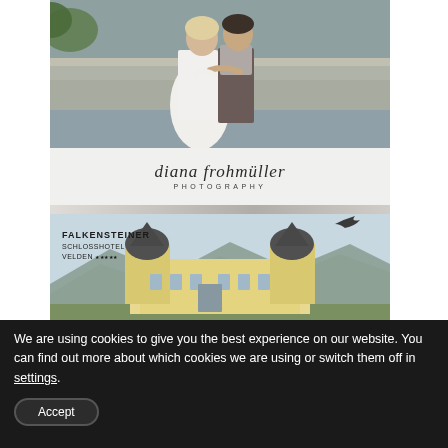[Figure (photo): Wedding couple embracing outdoors near a stone wall/water feature, bride in white dress, groom in dark vest]
[Figure (logo): Diana Frohmüller Photography logo — cursive script name with PHOTOGRAPHY subtitle]
[Figure (photo): Falkensteiner Schlosshotel Velden exterior — historic yellow castle/hotel building with domed towers against mountain backdrop]
We are using cookies to give you the best experience on our website. You can find out more about which cookies we are using or switch them off in settings.
Accept